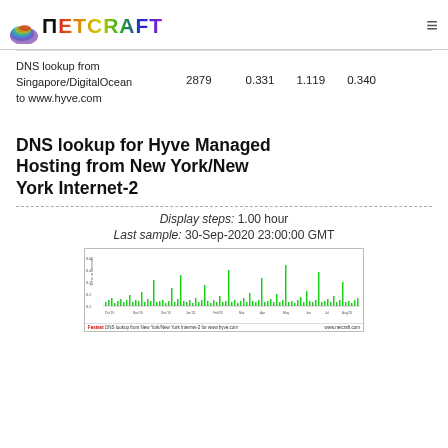[Figure (logo): Netcraft logo with rainbow gradient text and brush stroke graphic]
DNS lookup from Singapore/DigitalOcean to www.hyve.com	2879	0.331	1.119	0.340
DNS lookup for Hyve Managed Hosting from New York/New York Internet-2
Display steps: 1.00 hour
Last sample: 30-Sep-2020 23:00:00 GMT
[Figure (line-chart): DNS lookup time series chart from New York/New York Internet-2 for www.hyve.com, showing green bar/line chart over time, time axis spanning multiple months up to Sep 2020, y-axis labeled 'Time in seconds']